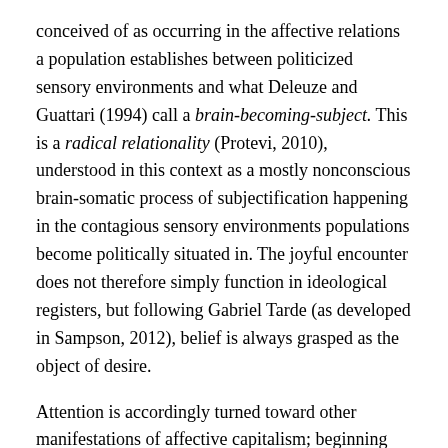conceived of as occurring in the affective relations a population establishes between politicized sensory environments and what Deleuze and Guattari (1994) call a brain-becoming-subject. This is a radical relationality (Protevi, 2010), understood in this context as a mostly nonconscious brain-somatic process of subjectification happening in the contagious sensory environments populations become politically situated in. The joyful encounter does not therefore simply function in ideological registers, but following Gabriel Tarde (as developed in Sampson, 2012), belief is always grasped as the object of desire.
Attention is accordingly turned toward other manifestations of affective capitalism; beginning with the so-called emotional turn in the neurosciences, which is increasingly influencing how marketers and political strategists, for example, target affective brain-somatic states in an effort to manipulate the mood of a population. So-called